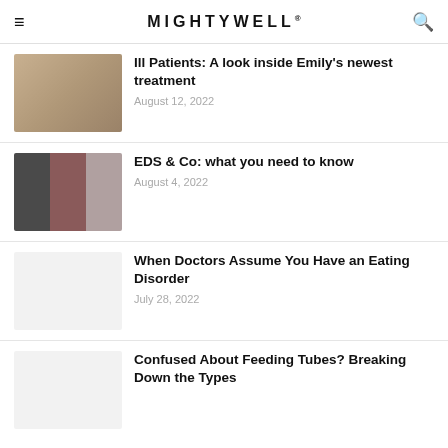MIGHTYWELL®
Ill Patients: A look inside Emily's newest treatment
August 12, 2022
EDS & Co: what you need to know
August 4, 2022
When Doctors Assume You Have an Eating Disorder
July 28, 2022
Confused About Feeding Tubes? Breaking Down the Types